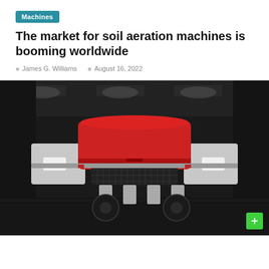Machines
The market for soil aeration machines is booming worldwide
James G. Williams   August 16, 2022
[Figure (photo): Front-facing view of a red and grey soil aeration machine inside a dark industrial warehouse setting. The machine has a large red hood, grey side panels with white rectangular elements on each side, a dark grille in the center, and visible wheels underneath.]